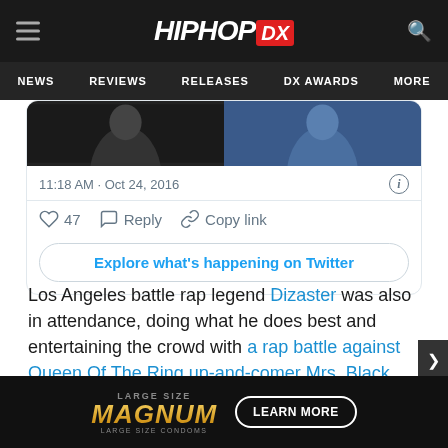HIPHOP DX — NEWS | REVIEWS | RELEASES | DX AWARDS | MORE
[Figure (screenshot): Embedded Twitter/X post showing two images of people, timestamp 11:18 AM · Oct 24, 2016, with 47 likes, Reply, Copy link actions, and Explore what's happening on Twitter button]
Los Angeles battle rap legend Dizaster was also in attendance, doing what he does best and entertaining the crowd with a rap battle against Queen Of The Ring up-and-comer Mrs. Black Dyamond.
Diz posted a Periscope video of himself wandering around